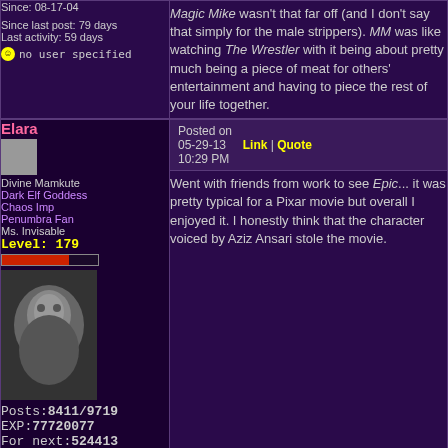Magic Mike wasn't that far off (and I don't say that simply for the male strippers). MM was like watching The Wrestler with it being about pretty much being a piece of meat for others' entertainment and having to piece the rest of your life together.
Since: 08-17-04
Since last post: 79 days
Last activity: 59 days
no user specified
Elara
Divine Mamkute
Dark Elf Goddess
Chaos Imp
Penumbra Fan
Ms. Invisable
Level: 179
Posts:8411/9719
EXP:77720077
For next:524413
Since: 08-15-04
From: Ferelden
Since last post: 59 days
Last activity: 23 days
no user specified
Posted on
05-29-13   Link | Quote
10:29 PM
Went with friends from work to see Epic... it was pretty typical for a Pixar movie but overall I enjoyed it. I honestly think that the character voiced by Aziz Ansari stole the movie.
FX
Zombie Marco
Level:
Posts:3791/3775
Posted on
06-01-13   Link | Quote
04:26 PM
Originally posted by Elara
Went with friends from work to see Epic... it was pretty typical for a Pixar